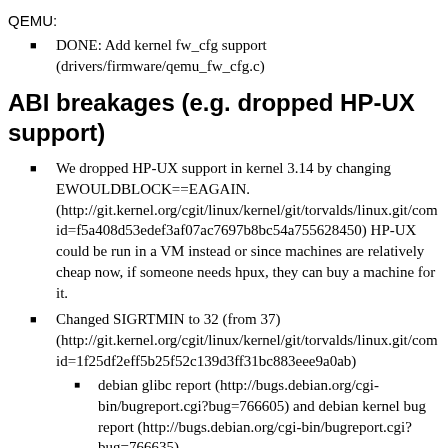QEMU:
DONE: Add kernel fw_cfg support (drivers/firmware/qemu_fw_cfg.c)
ABI breakages (e.g. dropped HP-UX support)
We dropped HP-UX support in kernel 3.14 by changing EWOULDBLOCK==EAGAIN. (http://git.kernel.org/cgit/linux/kernel/git/torvalds/linux.git/com id=f5a408d53edef3af07ac7697b8bc54a755628450) HP-UX could be run in a VM instead or since machines are relatively cheap now, if someone needs hpux, they can buy a machine for it.
Changed SIGRTMIN to 32 (from 37) (http://git.kernel.org/cgit/linux/kernel/git/torvalds/linux.git/com id=1f25df2eff5b25f52c139d3ff31bc883eee9a0ab)
debian glibc report (http://bugs.debian.org/cgi-bin/bugreport.cgi?bug=766605) and debian kernel bug report (http://bugs.debian.org/cgi-bin/bugreport.cgi?bug=766635)
September 7th 2014: First delivery with vmlinux-3.16.0-4 (aka linux-image-3.16.0-4-parisc64-smp_3.16.7-